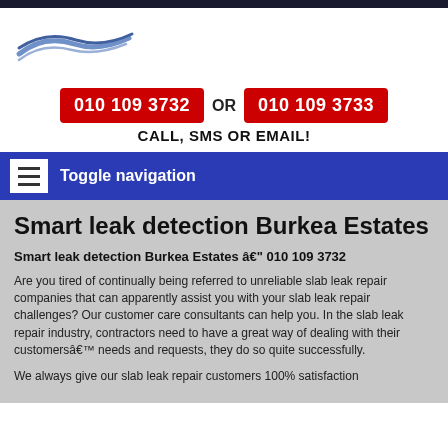[Figure (logo): Company logo with blue swoosh/wave design]
010 109 3732 OR 010 109 3733
CALL, SMS OR EMAIL!
Toggle navigation
Smart leak detection Burkea Estates
Smart leak detection Burkea Estates â€" 010 109 3732
Are you tired of continually being referred to unreliable slab leak repair companies that can apparently assist you with your slab leak repair challenges? Our customer care consultants can help you. In the slab leak repair industry, contractors need to have a great way of dealing with their customersâ€™ needs and requests, they do so quite successfully.
We always give our slab leak repair customers 100% satisfaction